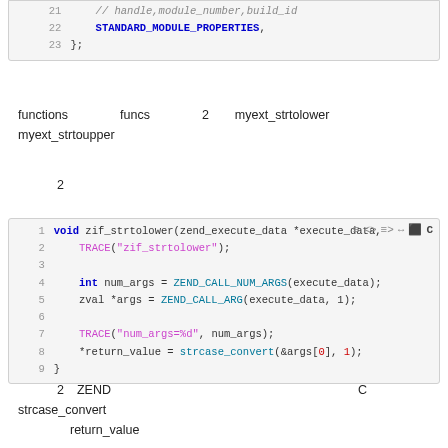[Figure (screenshot): Code snippet lines 21-23 showing STANDARD_MODULE_PROPERTIES]
functions　　　　funcs　　　　2　　myext_strtolower　myext_strtoupper
2
[Figure (screenshot): Code snippet lines 1-9 showing void zif_strtolower function implementation]
2　ZEND　　　　　　　　　　　　　　　　　　　C　　strcase_convert　　　　　　　　　　　return_value